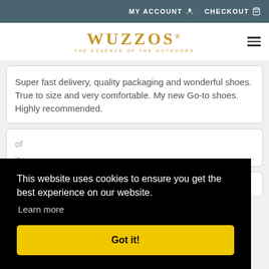MY ACCOUNT  CHECKOUT
WUZZOS THE ESSENCE OF THE OUTDOORS
Super fast delivery, quality packaging and wonderful shoes. True to size and very comfortable. My new Go-to shoes. Highly recommended.
of   ity
This website uses cookies to ensure you get the best experience on our website.
Learn more
Got it!